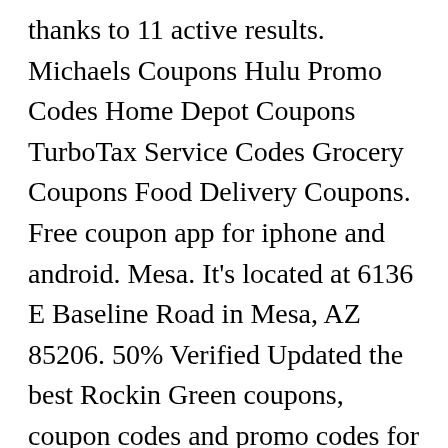thanks to 11 active results. Michaels Coupons Hulu Promo Codes Home Depot Coupons TurboTax Service Codes Grocery Coupons Food Delivery Coupons. Free coupon app for iphone and android. Mesa. It's located at 6136 E Baseline Road in Mesa, AZ 85206. 50% Verified Updated the best Rockin Green coupons, coupon codes and promo codes for January 2021. The experience begins in the Haunted Barn, which echoes with strange noises and screams even as visitors pass through to buy their tickets. 10% Check out the versatility of our products – they make great gifts! 5 days ago 18 Rockin Leather coupons now on RetailMeNot. You can get the best discount of